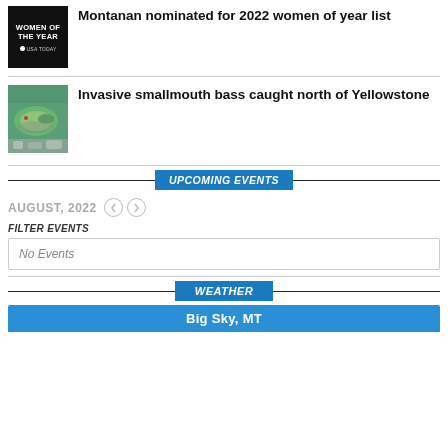[Figure (illustration): Women of the Year USA Today badge — black background with white bold text]
Montanan nominated for 2022 women of year list
[Figure (photo): Underwater photo of a smallmouth bass fish near rocks]
Invasive smallmouth bass caught north of Yellowstone
UPCOMING EVENTS
AUGUST, 2022
FILTER EVENTS
No Events
WEATHER
Big Sky, MT